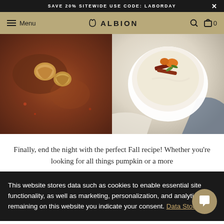SAVE 20% SITEWIDE USE CODE: LABORDAY  ×
Menu  ALBION  0
[Figure (photo): Two food photos side by side: left shows a dark spiced baked good topped with walnuts; right shows a white bowl of creamy grits or porridge topped with bacon, herbs and colorful garnishes.]
Finally, end the night with the perfect Fall recipe! Whether you're looking for all things pumpkin or a more
This website stores data such as cookies to enable essential site functionality, as well as marketing, personalization, and analytics. By remaining on this website you indicate your consent. Data Storage